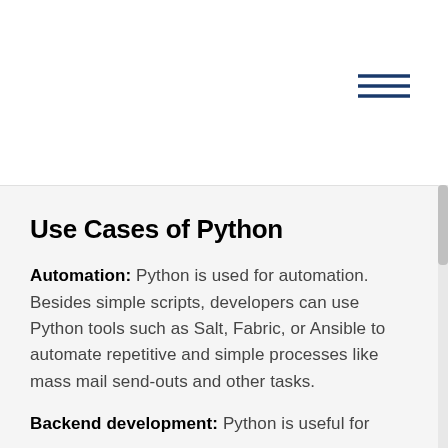[Figure (other): Hamburger menu icon with three horizontal blue lines in the top-right area]
Use Cases of Python
Automation: Python is used for automation. Besides simple scripts, developers can use Python tools such as Salt, Fabric, or Ansible to automate repetitive and simple processes like mass mail send-outs and other tasks.
Backend development: Python is useful for